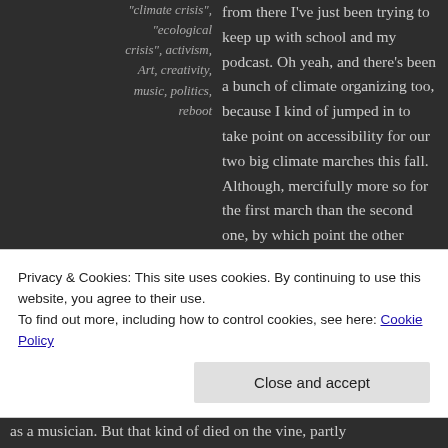"climate crisis", "ecological crisis", activism, Art, creativity, music, politics, reboot
from there I've just been trying to keep up with school and my podcast. Oh yeah, and there's been a bunch of climate organizing too, because I kind of jumped in to take point on accessibility for our two big climate marches this fall. Although, mercifully more so for the first march than the second one, by which point the other organizers were able to take what had been done for the first march and run with it. Which was great, because by then it was the last, and thus craziest, month of term! LOL So yeah, things have been rather hectic around here, thus my neglecting this site. Oops!!
Anyway, I figured the start of the new year was a good
Privacy & Cookies: This site uses cookies. By continuing to use this website, you agree to their use. To find out more, including how to control cookies, see here: Cookie Policy
Close and accept
as a musician. But that kind of died on the vine, partly